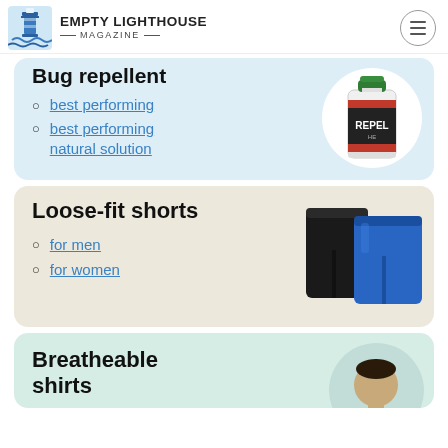Empty Lighthouse Magazine
Bug repellent
best performing
best performing natural solution
[Figure (photo): Bottle of Repel bug repellent spray]
Loose-fit shorts
for men
for women
[Figure (photo): Black and blue loose-fit athletic shorts]
Breatheable shirts